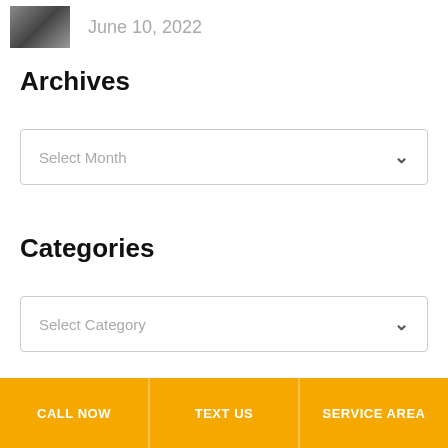[Figure (photo): Small thumbnail image of a person, partially cropped]
June 10, 2022
Archives
Select Month
Categories
Select Category
CALL NOW   TEXT US   SERVICE AREA